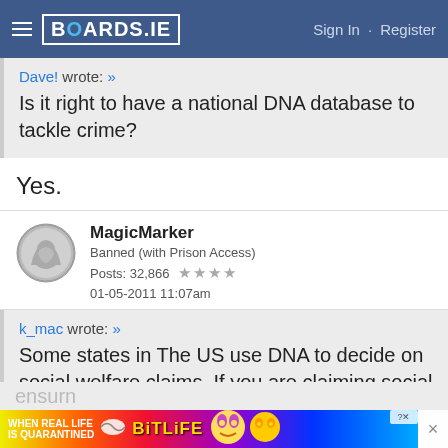BOARDS.IE  Sign In · Register
Dave! wrote: »
Is it right to have a national DNA database to tackle crime?
Yes.
MagicMarker
Banned (with Prison Access)
Posts: 32,866 ★★★★
01-05-2011 11:07am
k_mac wrote: »
Some states in The US use DNA to decide on social welfare claims. If you are claiming social welfare allowance your DNA is compared to your child to ensu...n
[Figure (screenshot): BitLife advertisement banner at bottom of page]